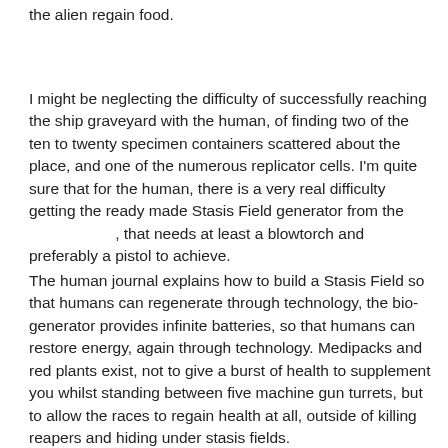the alien regain food.
I might be neglecting the difficulty of successfully reaching the ship graveyard with the human, of finding two of the ten to twenty specimen containers scattered about the place, and one of the numerous replicator cells. I'm quite sure that for the human, there is a very real difficulty getting the ready made Stasis Field generator from the                    , that needs at least a blowtorch and preferably a pistol to achieve.
The human journal explains how to build a Stasis Field so that humans can regenerate through technology, the bio-generator provides infinite batteries, so that humans can restore energy, again through technology. Medipacks and red plants exist, not to give a burst of health to supplement you whilst standing between five machine gun turrets, but to allow the races to regain health at all, outside of killing reapers and hiding under stasis fields.